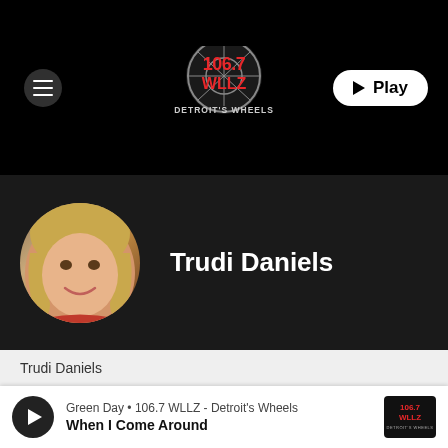[Figure (logo): 106.7 WLLZ Detroit's Wheels radio station logo in red and grey on black background]
[Figure (photo): Circular profile photo of Trudi Daniels, a blonde woman smiling, wearing a red outfit]
Trudi Daniels
Trudi Daniels
Louie Louie: The Day The
Green Day • 106.7 WLLZ - Detroit's Wheels
When I Come Around